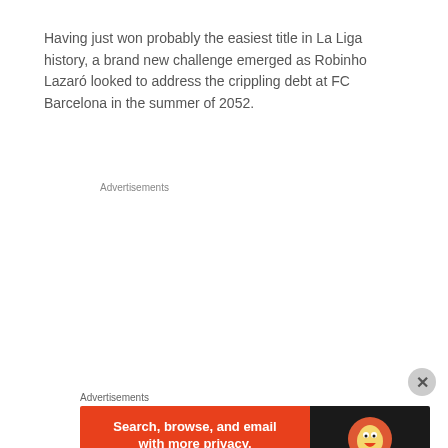Having just won probably the easiest title in La Liga history, a brand new challenge emerged as Robinho Lazaró looked to address the crippling debt at FC Barcelona in the summer of 2052.
Advertisements
Aventuras Américas | Part 47 | The End Of The Americas Adventure
Advertisements